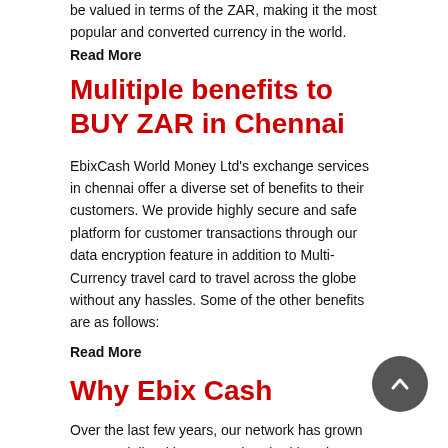be valued in terms of the ZAR, making it the most popular and converted currency in the world.
Read More
Mulitiple benefits to BUY ZAR in Chennai
EbixCash World Money Ltd's exchange services in chennai offer a diverse set of benefits to their customers. We provide highly secure and safe platform for customer transactions through our data encryption feature in addition to Multi-Currency travel card to travel across the globe without any hassles. Some of the other benefits are as follows:
Read More
Why Ebix Cash
Over the last few years, our network has grown exponentially with over two hundred locations across India and promises to evolve further. We have been successful in becoming the best in the market of foreign exchange and remittance by satisfying diverse demands of our clients through means of offering them best forex